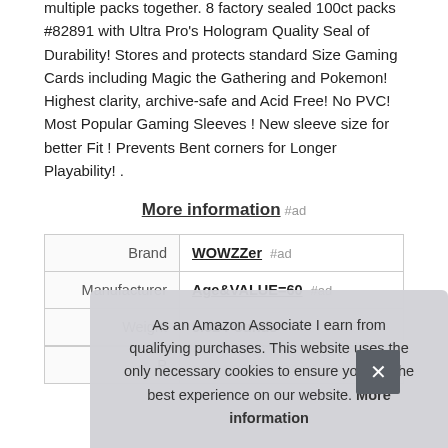multiple packs together. 8 factory sealed 100ct packs #82891 with Ultra Pro's Hologram Quality Seal of Durability! Stores and protects standard Size Gaming Cards including Magic the Gathering and Pokemon! Highest clarity, archive-safe and Acid Free! No PVC! Most Popular Gaming Sleeves ! New sleeve size for better Fit ! Prevents Bent corners for Longer Playability! .
More information #ad
|  |  |
| --- | --- |
| Brand | WOWZZer #ad |
| Manufacturer | Age&VALUE=60 #ad |
| Weight | 0.02 Pounds |
| P |  |
As an Amazon Associate I earn from qualifying purchases. This website uses the only necessary cookies to ensure you get the best experience on our website. More information